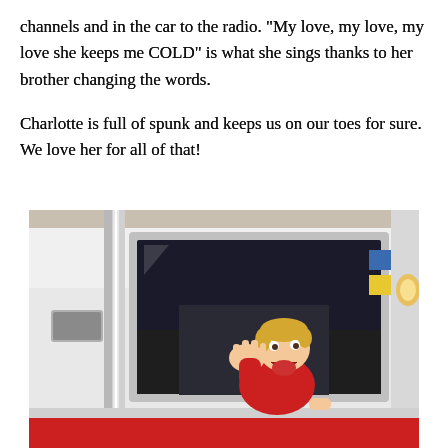channels and in the car to the radio.  "My love, my love, my love she keeps me COLD" is what she sings thanks to her brother changing the words.
Charlotte is full of spunk and keeps us on our toes for sure.  We love her for all of that!
[Figure (photo): A young toddler with blonde hair in a red jacket sitting in the cab of a fire truck, leaning out the window with mouth open and hand raised, appearing excited or crying. The fire truck is white with chrome details.]